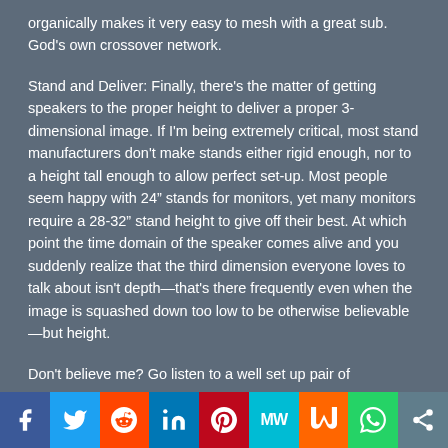organically makes it very easy to mesh with a great sub. God's own crossover network.
Stand and Deliver: Finally, there's the matter of getting speakers to the proper height to deliver a proper 3-dimensional image. If I'm being extremely critical, most stand manufacturers don't make stands either rigid enough, nor to a height tall enough to allow perfect set-up. Most people seem happy with 24" stands for monitors, yet many monitors require a 28-32" stand height to give off their best. At which point the time domain of the speaker comes alive and you suddenly realize that the third dimension everyone loves to talk about isn't depth—that's there frequently even when the image is squashed down too low to be otherwise believable—but height.
Don't believe me? Go listen to a well set up pair of